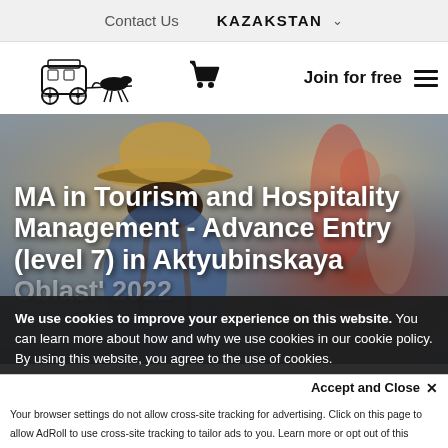Contact Us   KAZAKSTAN
[Figure (logo): Horse-drawn carriage logo icon]
Join for free
[Figure (photo): Blurred photo of a person wearing a tan hat from behind, in a busy outdoor setting]
MA in Tourism and Hospitality Management - Advance Entry (level 7) in Aktyubinskaya Oblast' 2022
We use cookies to improve your experience on this website. You can learn more about how and why we use cookies in our cookie policy. By using this website, you agree to the use of cookies.
Accept and Close ✕
Your browser settings do not allow cross-site tracking for advertising. Click on this page to allow AdRoll to use cross-site tracking to tailor ads to you. Learn more or opt out of this AdRoll tracking by clicking here. This message only appears once.